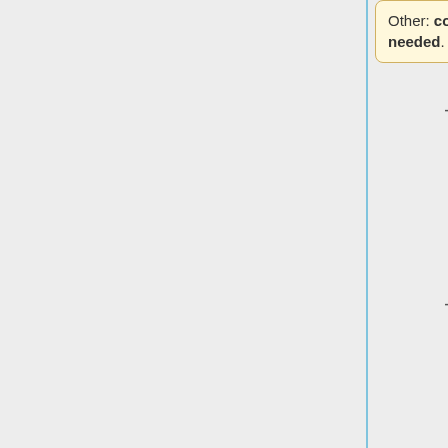Other: colour as needed.
<span style="color: #800000">Note: This is an important step as RTS will
load settings specific to the type of computer, such as printer and power settings.
15) After selecting the computer type, RTS will continue